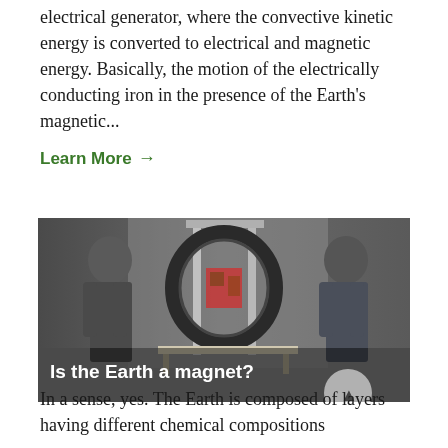electrical generator, where the convective kinetic energy is converted to electrical and magnetic energy. Basically, the motion of the electrically conducting iron in the presence of the Earth's magnetic...
Learn More →
[Figure (photo): Two men standing next to a large scientific apparatus with circular rings (resembling a magnetic field demonstration device) in a laboratory setting. White text overlay reads: Is the Earth a magnet?]
In a sense, yes. The Earth is composed of layers having different chemical compositions